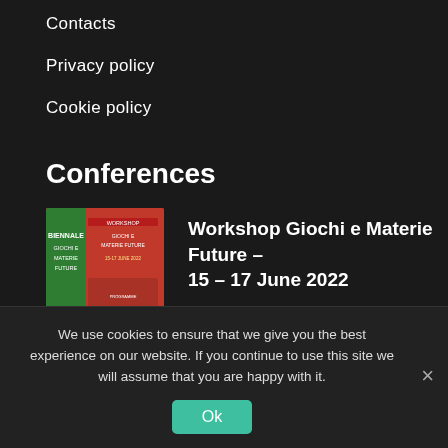Contacts
Privacy policy
Cookie policy
Conferences
[Figure (illustration): Workshop Giochi e Materie Future conference thumbnail - red background with Italian text]
Workshop Giochi e Materie Future – 15 – 17 June 2022
[Figure (photo): RRB 2022 conference thumbnail - photo of a city/cathedral]
RRB 2022 – 1 – 3 June 2022
We use cookies to ensure that we give you the best experience on our website. If you continue to use this site we will assume that you are happy with it.